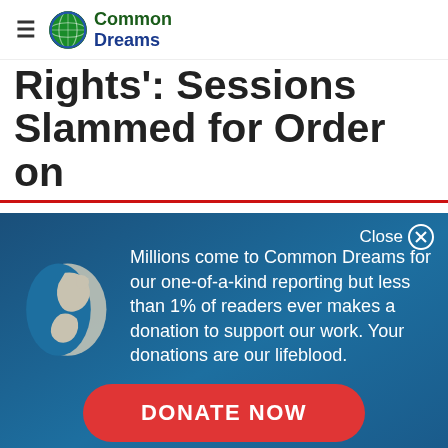Common Dreams
Rights': Sessions Slammed for Order on
[Figure (infographic): Common Dreams donation modal overlay with globe icon, text about readership and donations, and a red DONATE NOW button on a blue gradient background. Close button top right.]
Millions come to Common Dreams for our one-of-a-kind reporting but less than 1% of readers ever makes a donation to support our work. Your donations are our lifeblood.